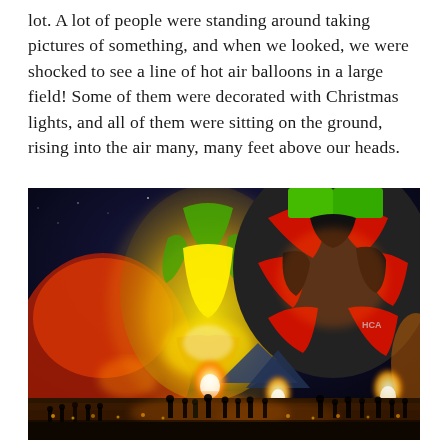lot. A lot of people were standing around taking pictures of something, and when we looked, we were shocked to see a line of hot air balloons in a large field! Some of them were decorated with Christmas lights, and all of them were sitting on the ground, rising into the air many, many feet above our heads.
[Figure (photo): Night-time photograph of multiple hot air balloons inflated and glowing in a large field. A large yellow balloon with green decorations is prominent in the center-left, and a large checkered balloon in red, black, and green is visible on the right. Flames from the burners illuminate the interiors of the balloons from below. Crowds of spectators are visible at ground level, with warm orange/amber lighting across the field. The sky is deep dark blue.]